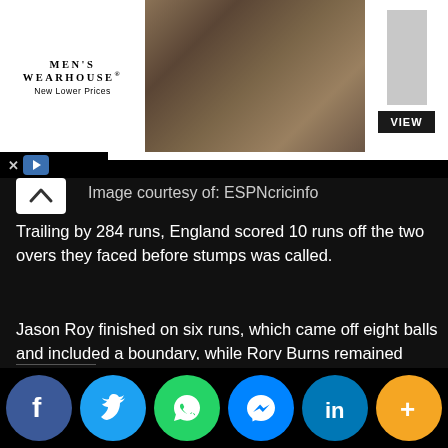[Figure (photo): Men's Wearhouse advertisement banner showing a couple in formal wear and a solo male model in tuxedo with VIEW button]
Image courtesy of: ESPNcricinfo
Trailing by 284 runs, England scored 10 runs off the two overs they faced before stumps was called.
Jason Roy finished on six runs, which came off eight balls and included a boundary, while Rory Burns remained unbeaten on four.
England ended day one on 10/0 and will continue batting on Friday at 11:00 local time or 10:00 GMT.
Like this:
[Figure (infographic): Social media sharing buttons: Facebook, Twitter, WhatsApp, Messenger, LinkedIn, More]